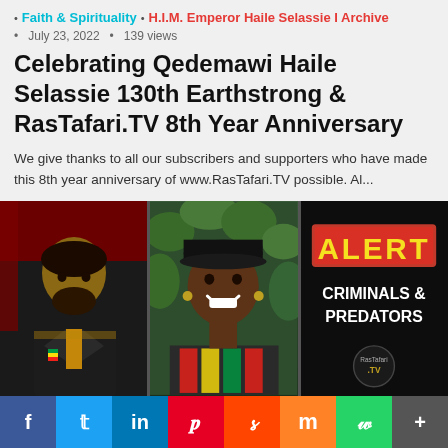Faith & Spirituality
H.I.M. Emperor Haile Selassie I Archive
July 23, 2022 • 139 views
Celebrating Qedemawi Haile Selassie 130th Earthstrong & RasTafari.TV 8th Year Anniversary
We give thanks to all our subscribers and supporters who have made this 8th year anniversary of www.RasTafari.TV possible. Al...
[Figure (photo): Three-panel image: left panel shows a portrait of Emperor Haile Selassie I against a red/dark background; center panel shows a smiling person wearing a black cap and colorful Rastafari clothing against a green leafy background; right panel shows a dark background with a red 'ALERT' box in yellow text and white bold text reading 'CRIMINALS & PREDATORS' with a RasTafari.TV logo at the bottom.]
f  t  in  p  s  m  w  +